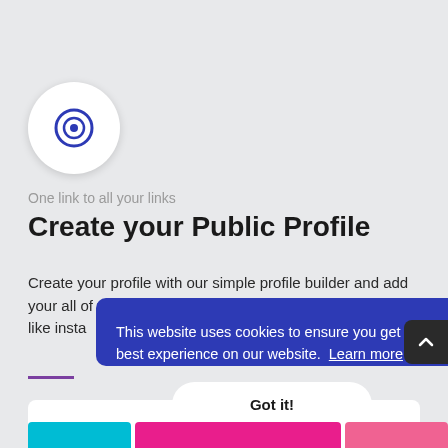[Figure (illustration): Circular white icon with a blue target/record icon (concentric circles) in the center, on a light gray background]
One link to all your links
Create your Public Profile
Create your profile with our simple profile builder and add your all of your links. Share a single link on social networks like insta
[Figure (screenshot): Cookie consent banner with dark blue background reading: 'This website uses cookies to ensure you get the best experience on our website. Learn more' with a 'Got it!' button]
[Figure (illustration): Colored horizontal bars at bottom in cyan, pink/magenta, and hot pink colors]